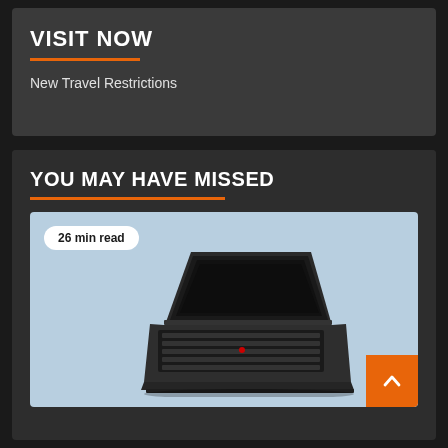VISIT NOW
New Travel Restrictions
YOU MAY HAVE MISSED
[Figure (screenshot): A vintage black ThinkPad laptop computer open at an angle, displayed on a light blue background. A pill-shaped badge with '26 min read' is overlaid in the upper-left corner of the image. An orange square button with a white upward chevron arrow appears in the bottom-right corner.]